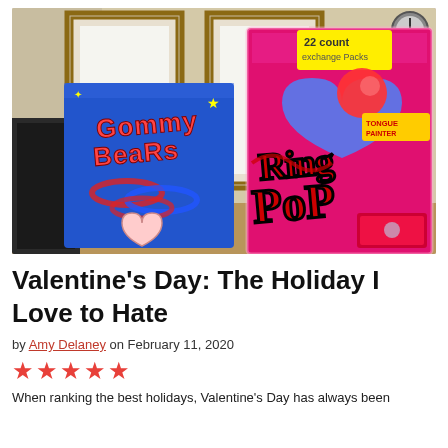[Figure (photo): Photo of two Valentine's Day candy packages on a shelf or table. On the left is a blue 'Gummy Bears' box with heart decorations. On the right is a large pink 'Ring Pop' box showing 22 exchange packs with a Tongue Painter label.]
Valentine's Day: The Holiday I Love to Hate
by Amy Delaney on February 11, 2020
★★★★★
When ranking the best holidays, Valentine's Day has always been